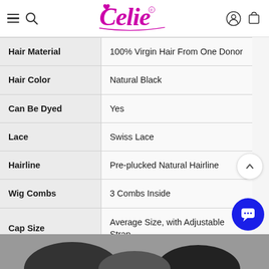Celie (logo) — navigation bar with hamburger, search, user, and cart icons
| Attribute | Value |
| --- | --- |
| Hair Material | 100% Virgin Hair From One Donor |
| Hair Color | Natural Black |
| Can Be Dyed | Yes |
| Lace | Swiss Lace |
| Hairline | Pre-plucked Natural Hairline |
| Wig Combs | 3 Combs Inside |
| Cap Size | Average Size, with Adjustable Strap |
| Circumference | 22.5 Inches, Standard Medium Size |
[Figure (photo): Bottom strip showing hair product photo (partially visible)]